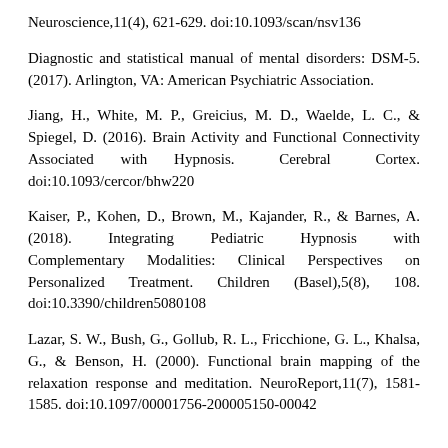Neuroscience,11(4), 621-629. doi:10.1093/scan/nsv136
Diagnostic and statistical manual of mental disorders: DSM-5. (2017). Arlington, VA: American Psychiatric Association.
Jiang, H., White, M. P., Greicius, M. D., Waelde, L. C., & Spiegel, D. (2016). Brain Activity and Functional Connectivity Associated with Hypnosis. Cerebral Cortex. doi:10.1093/cercor/bhw220
Kaiser, P., Kohen, D., Brown, M., Kajander, R., & Barnes, A. (2018). Integrating Pediatric Hypnosis with Complementary Modalities: Clinical Perspectives on Personalized Treatment. Children (Basel),5(8), 108. doi:10.3390/children5080108
Lazar, S. W., Bush, G., Gollub, R. L., Fricchione, G. L., Khalsa, G., & Benson, H. (2000). Functional brain mapping of the relaxation response and meditation. NeuroReport,11(7), 1581-1585. doi:10.1097/00001756-200005150-00042